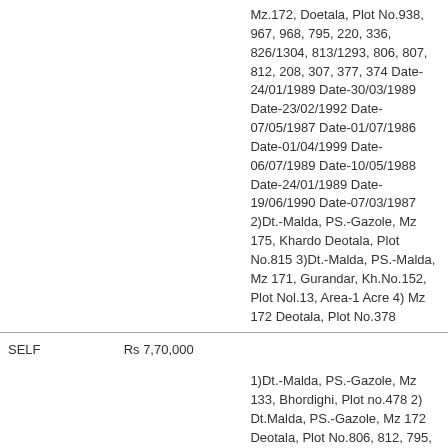| Owner | Value | Description |
| --- | --- | --- |
| SELF | Rs 7,70,000 | Mz.172, Doetala, Plot No.938, 967, 968, 795, 220, 336, 826/1304, 813/1293, 806, 807, 812, 208, 307, 377, 374 Date-24/01/1989 Date-30/03/1989 Date-23/02/1992 Date-07/05/1987 Date-01/07/1986 Date-01/04/1999 Date-06/07/1989 Date-10/05/1988 Date-24/01/1989 Date-19/06/1990 Date-07/03/1987 2)Dt.-Malda, PS.-Gazole, Mz 175, Khardo Deotala, Plot No.815 3)Dt.-Malda, PS.-Malda, Mz 171, Gurandar, Kh.No.152, Plot Nol.13, Area-1 Acre 4) Mz 172 Deotala, Plot No.378 |
| SPOUSE | Rs 1,65,573 | 1)Dt.-Malda, PS.-Gazole, Mz 133, Bhordighi, Plot no.478 2) Dt.Malda, PS.-Gazole, Mz 172 Deotala, Plot No.806, 812, 795, 807, 812/1229, 506, 556, 794, 796, 968, 967, 374, 376, 3078 Date-07/01/2000 Date-... |